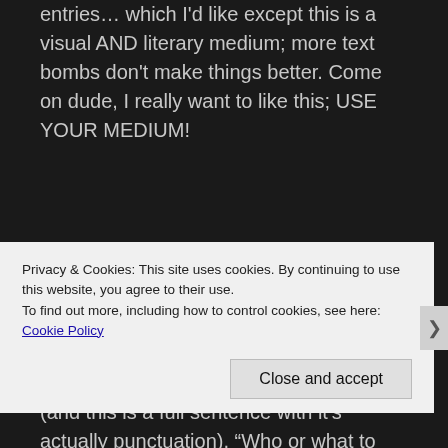entries… which I'd like except this is a visual AND literary medium; more text bombs don't make things better. Come on dude, I really want to like this; USE YOUR MEDIUM!
The writing, overall, is competent but we still get some headscratchers; lines like (and this is a full sentence with it's actually punctuation), “Who or what to fight I joked.” It’s grammatical errors like this that make it a little hard to read. There are at least 2 instance of the author trying to use an ellipsis, and only giving us 2
Privacy & Cookies: This site uses cookies. By continuing to use this website, you agree to their use.
To find out more, including how to control cookies, see here: Cookie Policy
Close and accept